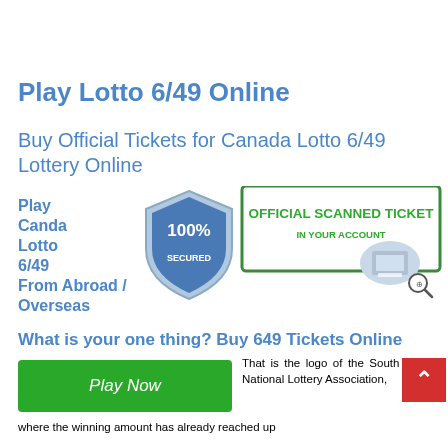Play Lotto 6/49 Online
Buy Official Tickets for Canada Lotto 6/49 Lottery Online
Play Canda Lotto 6/49 From Abroad / Overseas
[Figure (infographic): Badge showing '100% SECURED' shield and 'OFFICIAL SCANNED TICKET IN YOUR ACCOUNT' green banner with lottery terminal image and magnify icon]
What is your one thing? Buy 649 Tickets Online
[Figure (other): Green 'Play Now' button]
That is the logo of the South African National Lottery Association,
where the winning amount has already reached up